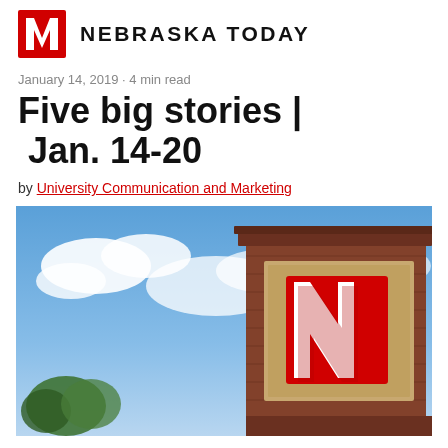NEBRASKA TODAY
January 14, 2019 · 4 min read
Five big stories | Jan. 14-20
by University Communication and Marketing
[Figure (photo): Outdoor photo of a brick University of Nebraska campus entrance sign with large red N logo, against a partly cloudy blue sky with trees in background]